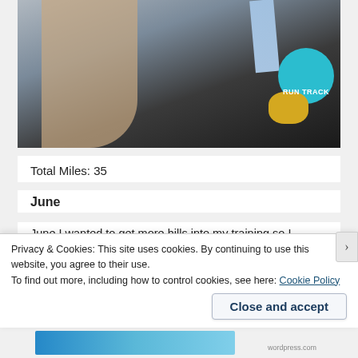[Figure (photo): Person holding a running medal, wearing a black shirt with 'RUN TRACK' text and teal/yellow logo, with a blue and white ribbon lanyard]
Total Miles: 35
June
June I wanted to get more hills into my training so I started running up and around Arthur's Seat a bit more. (Arthur's Seat is a massive hill in Edinburgh. I want to
Privacy & Cookies: This site uses cookies. By continuing to use this website, you agree to their use.
To find out more, including how to control cookies, see here: Cookie Policy
Close and accept